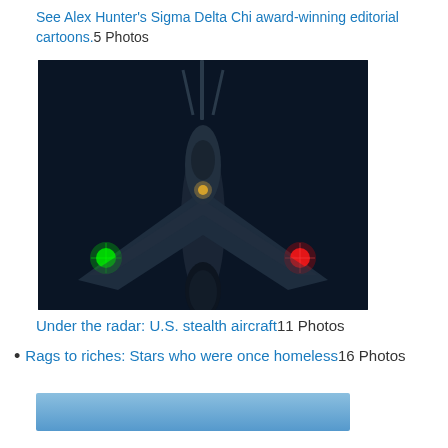See Alex Hunter's Sigma Delta Chi award-winning editorial cartoons. 5 Photos
[Figure (photo): Front view of a U.S. stealth aircraft (likely F-22 Raptor) at night with green light on left wing tip and red light on right wing tip, aerial refueling probe visible at top]
Under the radar: U.S. stealth aircraft 11 Photos
Rags to riches: Stars who were once homeless 16 Photos
[Figure (photo): Partial blue/light blue image at bottom of page]